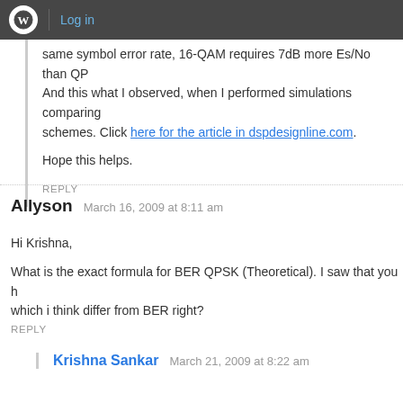Log in
same symbol error rate, 16-QAM requires 7dB more Es/No than QP... And this what I observed, when I performed simulations comparing schemes. Click here for the article in dspdesignline.com.
Hope this helps.
REPLY
Allyson   March 16, 2009 at 8:11 am
Hi Krishna,
What is the exact formula for BER QPSK (Theoretical). I saw that you h... which i think differ from BER right?
REPLY
Krishna Sankar   March 21, 2009 at 8:22 am